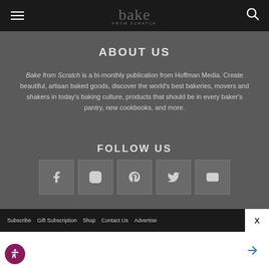bake from scratch — header navigation
ABOUT US
Bake from Scratch is a bi-monthly publication from Hoffman Media. Create beautiful, artisan baked goods, discover the world's best bakeries, movers and shakers in today's baking culture, products that should be in every baker's pantry, new cookbooks, and more.
FOLLOW US
[Figure (infographic): Five social media icon boxes: Facebook (f), Instagram (circle), Pinterest (p), Twitter/X (bird), YouTube (play button)]
Subscribe   Gift Subscription   Shop   Contact Us   Advertise